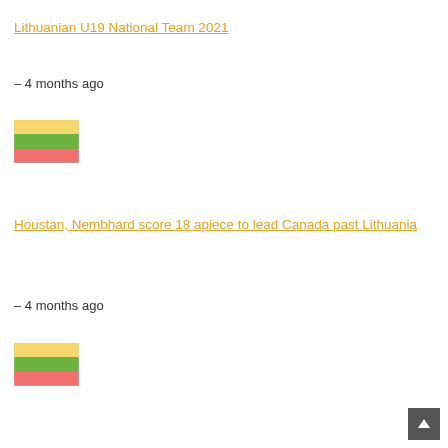Lithuanian U19 National Team 2021
– 4 months ago
[Figure (illustration): Lithuanian flag - horizontal tricolor: yellow, green, red]
Houstan, Nembhard score 18 apiece to lead Canada past Lithuania
– 4 months ago
[Figure (illustration): Lithuanian flag - horizontal tricolor: yellow, green, red]